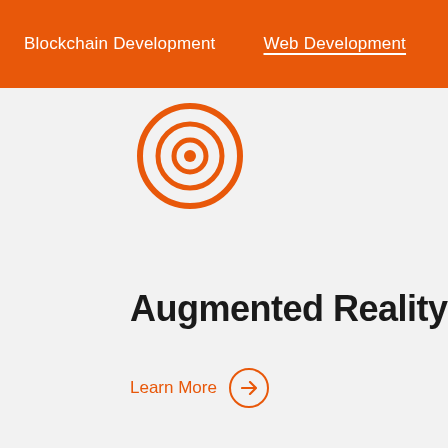Blockchain Development   Web Development   Mobile De…
[Figure (illustration): Partial AR/eye icon in orange, cropped at top of card]
Augmented Reality
Learn More →
[Figure (illustration): Orange microchip/CPU icon]
DevOps